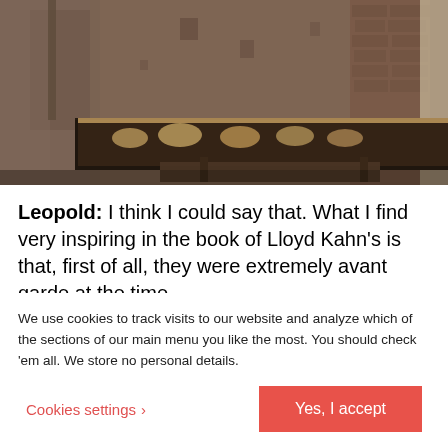[Figure (photo): Interior of an industrial or museum space with aged brick walls, concrete columns, and a long illuminated display case containing sculptural objects. Warm ambient lighting.]
Leopold: I think I could say that. What I find very inspiring in the book of Lloyd Kahn's is that, first of all, they were extremely avant garde at the time
We use cookies to track visits to our website and analyze which of the sections of our main menu you like the most. You should check 'em all. We store no personal details.
Cookies settings > Yes, I accept